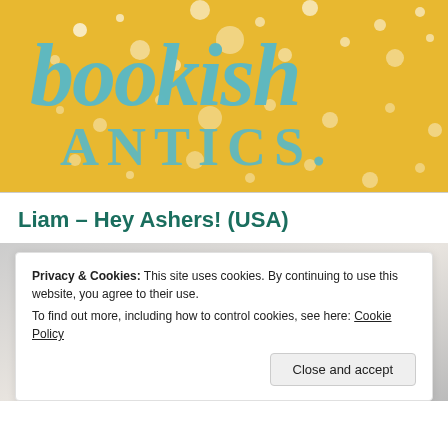[Figure (logo): Bookish Antics logo on golden/yellow background with paint splatter effect. 'bookish' in teal cursive script, 'ANTICS.' in teal serif block letters.]
Liam – Hey Ashers! (USA)
[Figure (photo): Blurred close-up photo of a book's open pages with readable text fragments.]
Privacy & Cookies: This site uses cookies. By continuing to use this website, you agree to their use.
To find out more, including how to control cookies, see here: Cookie Policy
Close and accept